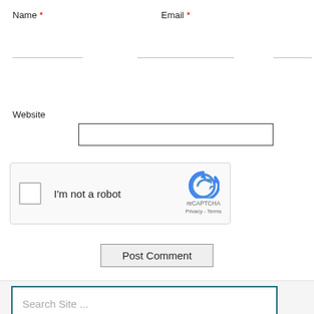Name *
Email *
Website
[Figure (screenshot): reCAPTCHA widget with checkbox labeled 'I'm not a robot' and reCAPTCHA logo with 'Privacy - Terms' text]
Post Comment
Search Site ...